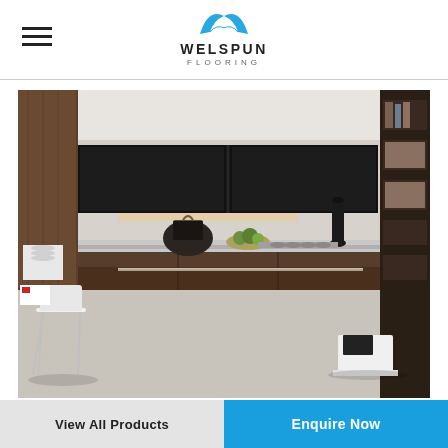Welspun Flooring
[Figure (photo): Modern kitchen interior with dark wood cabinetry, black glossy upper cabinets, a grey/taupe flooring, a white modern chair on the left, kitchen items on the counter including a bowl of fruit and a black vase, and a white geometric stool on the right side.]
View All Products
Enquire Now